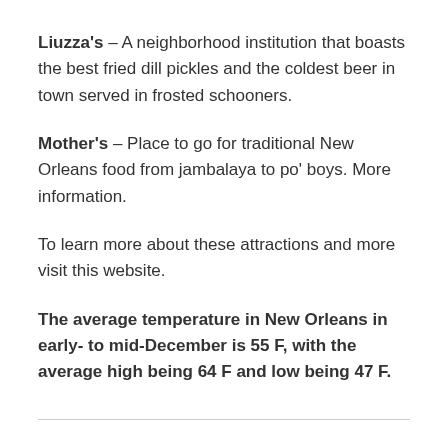Liuzza's – A neighborhood institution that boasts the best fried dill pickles and the coldest beer in town served in frosted schooners.
Mother's – Place to go for traditional New Orleans food from jambalaya to po' boys. More information.
To learn more about these attractions and more visit this website.
The average temperature in New Orleans in early- to mid-December is 55 F, with the average high being 64 F and low being 47 F.